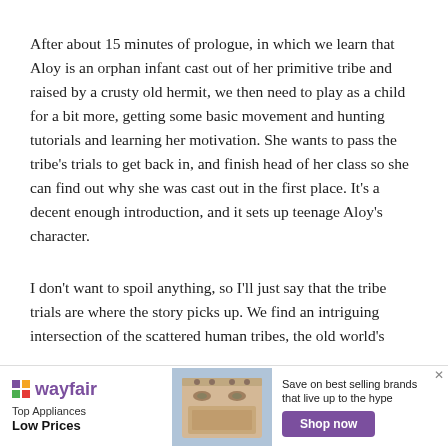After about 15 minutes of prologue, in which we learn that Aloy is an orphan infant cast out of her primitive tribe and raised by a crusty old hermit, we then need to play as a child for a bit more, getting some basic movement and hunting tutorials and learning her motivation. She wants to pass the tribe's trials to get back in, and finish head of her class so she can find out why she was cast out in the first place. It's a decent enough introduction, and it sets up teenage Aloy's character.
I don't want to spoil anything, so I'll just say that the tribe trials are where the story picks up. We find an intriguing intersection of the scattered human tribes, the old world's
[Figure (other): Wayfair advertisement banner showing Top Appliances Low Prices with an image of a kitchen stove/range appliance and a Shop now button]